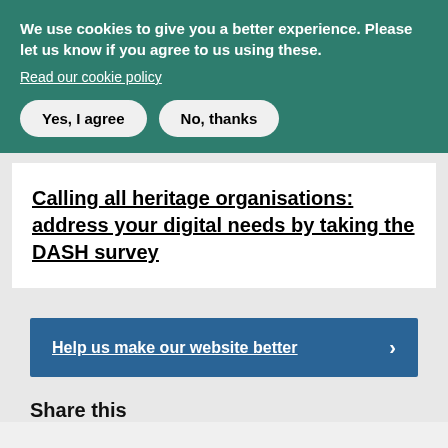We use cookies to give you a better experience. Please let us know if you agree to us using these.
Read our cookie policy
Yes, I agree
No, thanks
Calling all heritage organisations: address your digital needs by taking the DASH survey
Help us make our website better
Share this